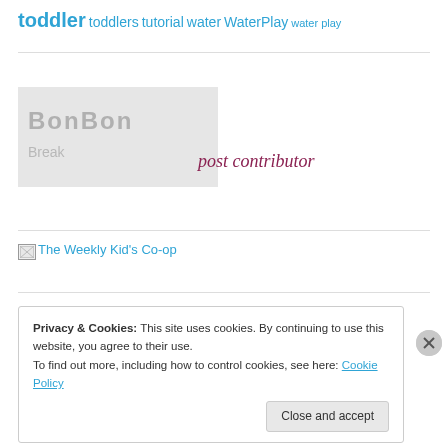toddler toddlers tutorial water WaterPlay water play
[Figure (logo): BonBon Break post contributor logo badge on light gray background]
[Figure (illustration): Broken image icon for The Weekly Kid's Co-op]
The Weekly Kid's Co-op
Privacy & Cookies: This site uses cookies. By continuing to use this website, you agree to their use. To find out more, including how to control cookies, see here: Cookie Policy
Close and accept